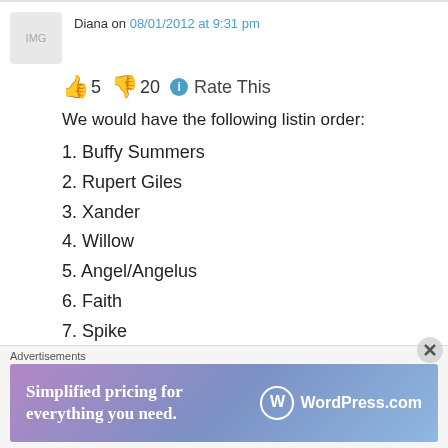Diana on 08/01/2012 at 9:31 pm
👍 5 👎 20 ℹ Rate This
We would have the following listin order:
1. Buffy Summers
2. Rupert Giles
3. Xander
4. Willow
5. Angel/Angelus
6. Faith
7. Spike
8. Wesley Wyndham Price
Advertisements
[Figure (illustration): WordPress.com advertisement banner: 'Simplified pricing for everything you need.' with WordPress.com logo on gradient purple-blue background]